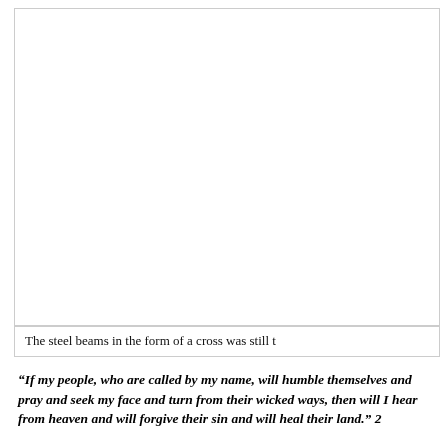[Figure (photo): A white/blank area representing an image of steel beams in the form of a cross, mostly cropped out of view.]
The steel beams in the form of a cross was still t
“If my people, who are called by my name, will humble themselves and pray and seek my face and turn from their wicked ways, then will I hear from heaven and will forgive their sin and will heal their land.” 2